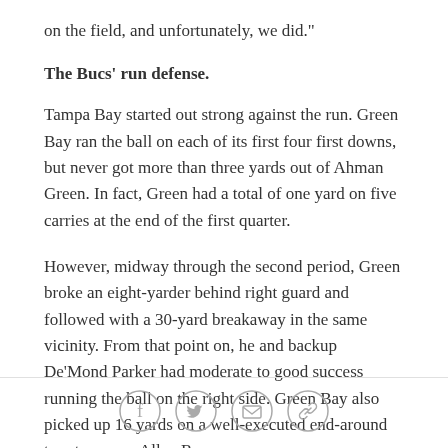on the field, and unfortunately, we did."
The Bucs' run defense.
Tampa Bay started out strong against the run. Green Bay ran the ball on each of its first four first downs, but never got more than three yards out of Ahman Green. In fact, Green had a total of one yard on five carries at the end of the first quarter.
However, midway through the second period, Green broke an eight-yarder behind right guard and followed with a 30-yard breakaway in the same vicinity. From that point on, he and backup De'Mond Parker had moderate to good success running the ball on the right side. Green Bay also picked up 16 yards on a well-executed end-around to return man Allen Rossum.
[Figure (other): Social sharing icons: Facebook, Twitter, Email, Link]